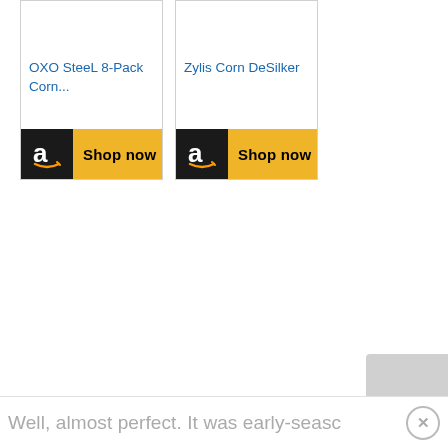[Figure (screenshot): Amazon product card for 'OXO SteeL 8-Pack Corn...' with a Shop now button featuring Amazon logo on golden/yellow background]
[Figure (screenshot): Amazon product card for 'Zylis Corn DeSilker' with a Shop now button featuring Amazon logo on golden/yellow background]
Well, almost perfect. It was early-seasc
[Figure (other): Gray rounded rectangle partially visible at bottom right corner]